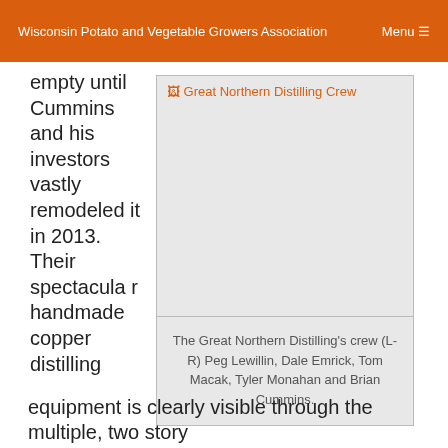Wisconsin Potato and Vegetable Growers Association  Menu
empty until Cummins and his investors vastly remodeled it in 2013. Their spectacular handmade copper distilling
[Figure (photo): Image placeholder for Great Northern Distilling Crew photo, showing broken image icon with alt text 'Great Northern Distilling Crew']
The Great Northern Distilling's crew (L-R) Peg Lewillin, Dale Emrick, Tom Macak, Tyler Monahan and Brian Cummins.
equipment is clearly visible through the multiple, two story